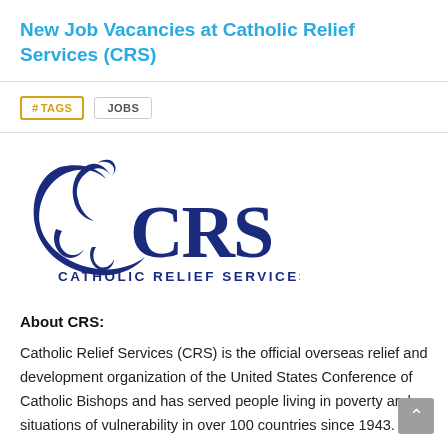New Job Vacancies at Catholic Relief Services (CRS)
# TAGS   JOBS
[Figure (logo): Catholic Relief Services (CRS) logo — large dark blue stylized droplet/letter C and J shape combined forming an abstract icon, followed by 'CRS' in bold dark blue serif letters, with 'CATHOLIC RELIEF SERVICES' in smaller spaced dark blue capitals below.]
About CRS:
Catholic Relief Services (CRS) is the official overseas relief and development organization of the United States Conference of Catholic Bishops and has served people living in poverty and situations of vulnerability in over 100 countries since 1943.